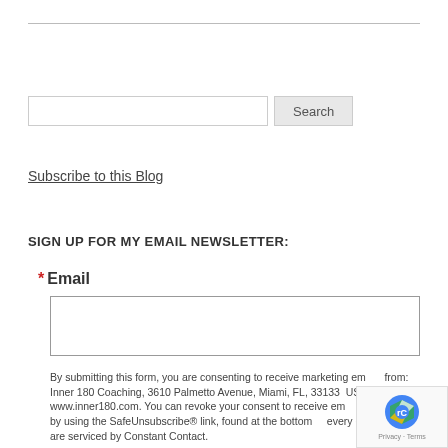— (horizontal rule separator)
Search
Subscribe to this Blog
SIGN UP FOR MY EMAIL NEWSLETTER:
* Email
By submitting this form, you are consenting to receive marketing emails from: Inner 180 Coaching, 3610 Palmetto Avenue, Miami, FL, 33133, US, www.inner180.com. You can revoke your consent to receive emails at any time by using the SafeUnsubscribe® link, found at the bottom of every email. Emails are serviced by Constant Contact.